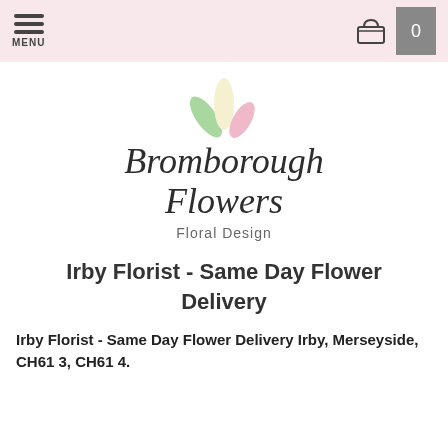MENU | 0
[Figure (logo): Bromborough Flowers Floral Design logo with three petals (green, cream, pink) above cursive text]
Irby Florist - Same Day Flower Delivery
Irby Florist - Same Day Flower Delivery Irby, Merseyside, CH61 3, CH61 4.